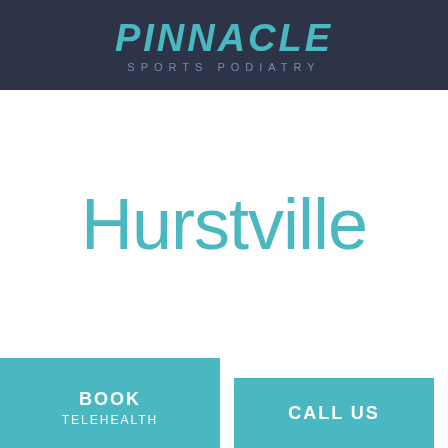[Figure (logo): Pinnacle Sports Podiatry logo — teal italic bold PINNACLE text above light grey 'SPORTS PODIATRY' subtitle on dark navy background]
Hurstville
BOOK TELEHEALTH
CALL US